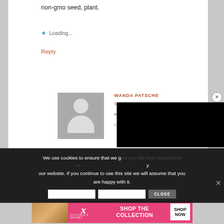non-gmo seed, plant.
Loading...
Reply
WANDA PATSCHE
[Figure (photo): Default user avatar placeholder — grey background with white silhouette of a person]
[Figure (screenshot): Black video overlay panel partially covering the page content]
We use cookies to ensure that we give you the best experience on our website. If you continue to use this site we will assume that you are happy with it.
CLOSE
[Figure (advertisement): Victoria's Secret advertisement banner — pink background with woman photo, VS logo, SHOP THE COLLECTION text, and SHOP NOW button]